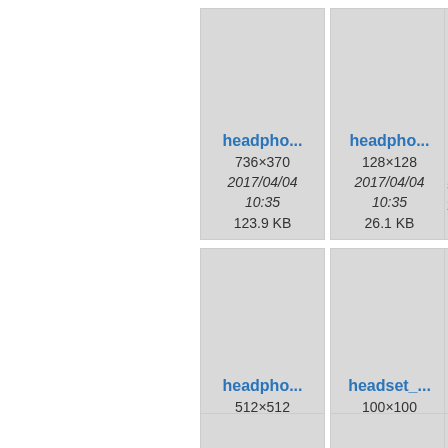[Figure (screenshot): File browser grid view showing image thumbnails with filenames truncated as 'headpho...', dimensions, date/time, and file size. Visible cards: headpho... 736×370 2017/04/04 10:35 123.9 KB; headpho... 128×128 2017/04/04 10:35 26.1 KB; headpho... (partial); headpho... 512×512 2017/04/04 10:35 153 KB; headset_... 100×100 2017/04/04 10:35 18.4 KB; hea... (partial, two more partial cards at bottom)]